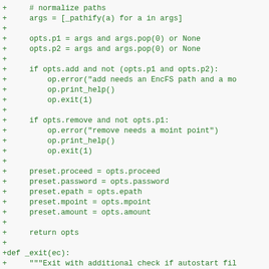+     # normalize paths
+     args = [_pathify(a) for a in args]
+
+     opts.p1 = args and args.pop(0) or None
+     opts.p2 = args and args.pop(0) or None
+
+     if opts.add and not (opts.p1 and opts.p2):
+         op.error("add needs an EncFS path and a mo
+         op.print_help()
+         op.exit(1)
+
+     if opts.remove and not opts.p1:
+         op.error("remove needs a moint point")
+         op.print_help()
+         op.exit(1)
+
+     preset.proceed = opts.proceed
+     preset.password = opts.password
+     preset.epath = opts.epath
+     preset.mpoint = opts.mpoint
+     preset.amount = opts.amount
+
+     return opts
+
+def _exit(ec):
+     """Exit with additional check if autostart fil
+
+     _autostart(_get_items(amount="y"))
+     sys.exit(ec)
+